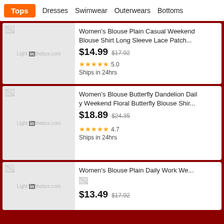Tops | Dresses | Swimwear | Outerwears | Bottoms
Women's Blouse Plain Casual Weekend Blouse Shirt Long Sleeve Lace Patch... $14.99 $17.92 ★★★★★ 5.0 Ships in 24hrs
Women's Blouse Butterfly Dandelion Daily Weekend Floral Butterfly Blouse Shir... $18.89 $24.35 ★★★★★ 4.7 Ships in 24hrs
Women's Blouse Plain Daily Work We... $13.49 $17.92